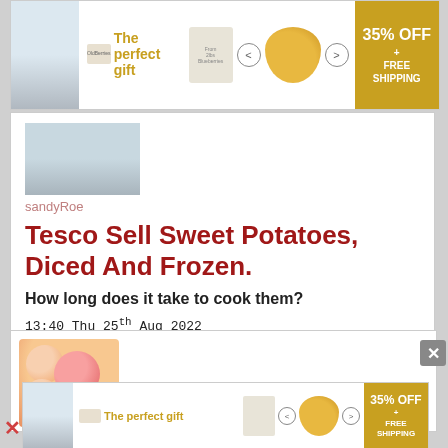[Figure (illustration): Advertisement banner: The perfect gift, 35% OFF + FREE SHIPPING]
sandyRoe
Tesco Sell Sweet Potatoes, Diced And Frozen.
How long does it take to cook them?
13:40 Thu 25th Aug 2022
4 answers,  last by CrapAtCryptics 20:57 Thu 25th Aug 2022
[Figure (illustration): Second forum post with orange bubble/people avatar icon, partially visible]
[Figure (illustration): Bottom advertisement banner: The perfect gift, 35% OFF + FREE SHIPPING]